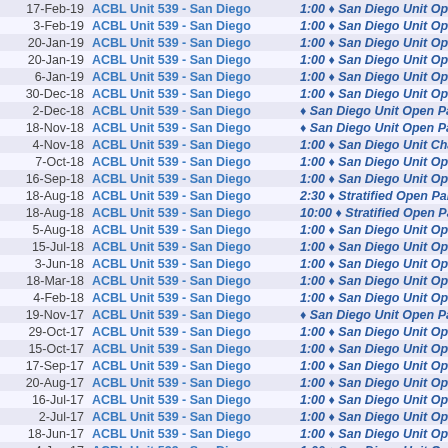| Date | Club | Event |
| --- | --- | --- |
| 17-Feb-19 | ACBL Unit 539 - San Diego | 1:00 ♦ San Diego Unit Open Pai... |
| 3-Feb-19 | ACBL Unit 539 - San Diego | 1:00 ♦ San Diego Unit Open Pai... |
| 20-Jan-19 | ACBL Unit 539 - San Diego | 1:00 ♦ San Diego Unit Open Pai... |
| 20-Jan-19 | ACBL Unit 539 - San Diego | 1:00 ♦ San Diego Unit Open Pai... |
| 6-Jan-19 | ACBL Unit 539 - San Diego | 1:00 ♦ San Diego Unit Open Pai... |
| 30-Dec-18 | ACBL Unit 539 - San Diego | 1:00 ♦ San Diego Unit Open Pai... |
| 2-Dec-18 | ACBL Unit 539 - San Diego | ♦ San Diego Unit Open Pairs |
| 18-Nov-18 | ACBL Unit 539 - San Diego | ♦ San Diego Unit Open Pairs |
| 4-Nov-18 | ACBL Unit 539 - San Diego | 1:00 ♦ San Diego Unit Charity C... |
| 7-Oct-18 | ACBL Unit 539 - San Diego | 1:00 ♦ San Diego Unit Open Pai... |
| 16-Sep-18 | ACBL Unit 539 - San Diego | 1:00 ♦ San Diego Unit Open Pai... |
| 18-Aug-18 | ACBL Unit 539 - San Diego | 2:30 ♦ Stratified Open Pairs |
| 18-Aug-18 | ACBL Unit 539 - San Diego | 10:00 ♦ Stratified Open Pairs |
| 5-Aug-18 | ACBL Unit 539 - San Diego | 1:00 ♦ San Diego Unit Open Pai... |
| 15-Jul-18 | ACBL Unit 539 - San Diego | 1:00 ♦ San Diego Unit Open Pai... |
| 3-Jun-18 | ACBL Unit 539 - San Diego | 1:00 ♦ San Diego Unit Open Pai... |
| 18-Mar-18 | ACBL Unit 539 - San Diego | 1:00 ♦ San Diego Unit Open Pai... |
| 4-Feb-18 | ACBL Unit 539 - San Diego | 1:00 ♦ San Diego Unit Open Pai... |
| 19-Nov-17 | ACBL Unit 539 - San Diego | ♦ San Diego Unit Open Pairs |
| 29-Oct-17 | ACBL Unit 539 - San Diego | 1:00 ♦ San Diego Unit Open Pai... |
| 15-Oct-17 | ACBL Unit 539 - San Diego | 1:00 ♦ San Diego Unit Open Pai... |
| 17-Sep-17 | ACBL Unit 539 - San Diego | 1:00 ♦ San Diego Unit Open Pai... |
| 20-Aug-17 | ACBL Unit 539 - San Diego | 1:00 ♦ San Diego Unit Open Pai... |
| 16-Jul-17 | ACBL Unit 539 - San Diego | 1:00 ♦ San Diego Unit Open Pai... |
| 2-Jul-17 | ACBL Unit 539 - San Diego | 1:00 ♦ San Diego Unit Open Pai... |
| 18-Jun-17 | ACBL Unit 539 - San Diego | 1:00 ♦ San Diego Unit Open Pai... |
| 4-Jun-17 | ACBL Unit 539 - San Diego | 1:00 ♦ San Diego Unit Open Pai... |
| 21-May-17 | ACBL Unit 539 - San Diego | 1:00 ♦ San Diego Unit Open Pai... |